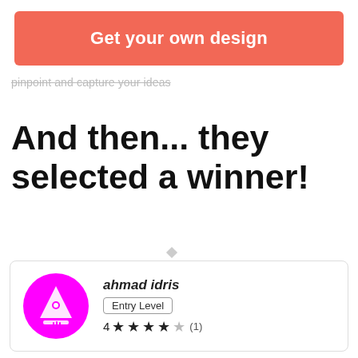[Figure (screenshot): Red/coral button labeled 'Get your own design']
pinpoint and capture your ideas
And then... they selected a winner!
[Figure (infographic): Designer card for 'ahmad idris' with magenta avatar showing rocket icon, Entry Level badge, and 4-star rating with 1 review]